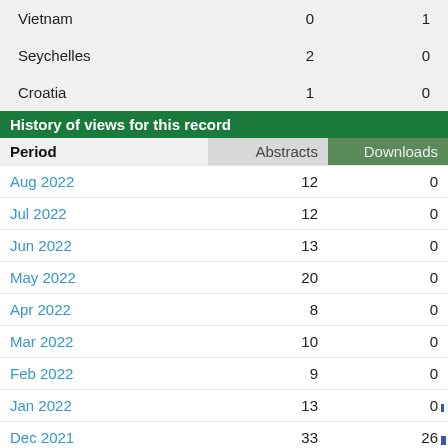| Country | Abstracts | Downloads |
| --- | --- | --- |
| Vietnam | 0 | 1 |
| Seychelles | 2 | 0 |
| Croatia | 1 | 0 |
History of views for this record
| Period | Abstracts | Downloads |
| --- | --- | --- |
| Aug 2022 | 12 | 0 |
| Jul 2022 | 12 | 0 |
| Jun 2022 | 13 | 0 |
| May 2022 | 20 | 0 |
| Apr 2022 | 8 | 0 |
| Mar 2022 | 10 | 0 |
| Feb 2022 | 9 | 0 |
| Jan 2022 | 13 | 0 |
| Dec 2021 | 33 | 26 |
| Nov 2021 | 14 | 67 |
| Oct 2021 | 12 | 78 |
| Sep 2021 | 7 | 73 |